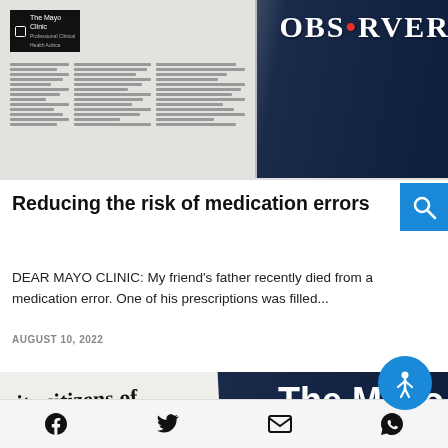[Figure (photo): Newspaper page showing The Mayo Clinic header with 'OBSERVER' text visible on a dark navy background, newspaper columns with text]
Reducing the risk of medication errors
DEAR MAYO CLINIC: My friend's father recently died from a medication error. One of his prescriptions was filled...
AUGUST 10, 2022
[Figure (photo): Newspaper showing 'es its citizens of' headline text on left, 'The Mayo Clinic' text on right dark navy background]
Facebook, Twitter, Email, WhatsApp social share icons